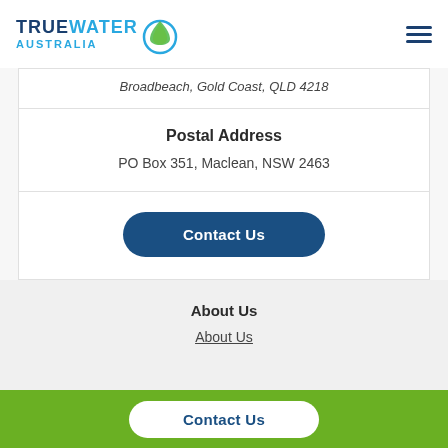TrueWater Australia [logo]
Broadbeach, Gold Coast, QLD 4218
Postal Address
PO Box 351, Maclean, NSW 2463
Contact Us
About Us
About Us
Contact Us